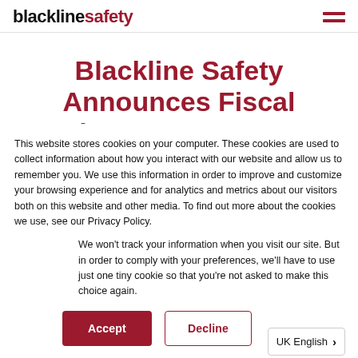blacklinesafety
Blackline Safety Announces Fiscal First Quarter 2022 Financial
This website stores cookies on your computer. These cookies are used to collect information about how you interact with our website and allow us to remember you. We use this information in order to improve and customize your browsing experience and for analytics and metrics about our visitors both on this website and other media. To find out more about the cookies we use, see our Privacy Policy.
We won't track your information when you visit our site. But in order to comply with your preferences, we'll have to use just one tiny cookie so that you're not asked to make this choice again.
Accept | Decline
UK English